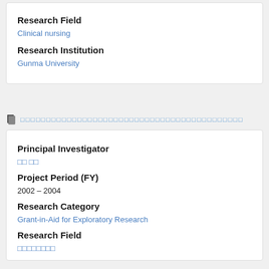Research Field
Clinical nursing
Research Institution
Gunma University
（Japanese characters link）
Principal Investigator
（Japanese characters）
Project Period (FY)
2002 – 2004
Research Category
Grant-in-Aid for Exploratory Research
Research Field
（Japanese characters）